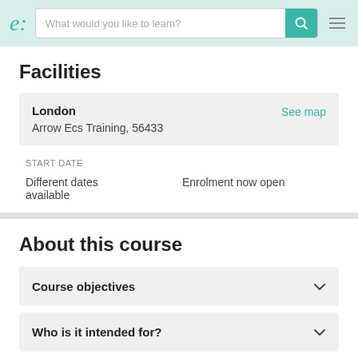e: [search bar] What would you like to learn? [search icon] [menu]
Facilities
London  See map
Arrow Ecs Training, 56433
START DATE
Different dates available    Enrolment now open
About this course
Course objectives
Who is it intended for?